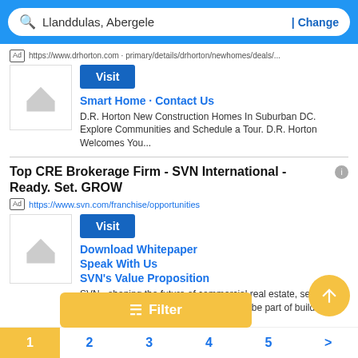Llanddulas, Abergele | Change
Ad https://www.drhorton.com/...
[Figure (screenshot): Placeholder house image for D.R. Horton ad]
Visit
Smart Home · Contact Us
D.R. Horton New Construction Homes In Suburban DC. Explore Communities and Schedule a Tour. D.R. Horton Welcomes You...
Top CRE Brokerage Firm - SVN International - Ready. Set. GROW
Ad https://www.svn.com/franchise/opportunities
[Figure (screenshot): Placeholder house image for SVN ad]
Visit
Download Whitepaper
Speak With Us
SVN's Value Proposition
SVN - shaping the future of commercial real estate, setting you up for long-term success. Join SVN and be part of building a force that...
Filter
1  2  3  4  5  >